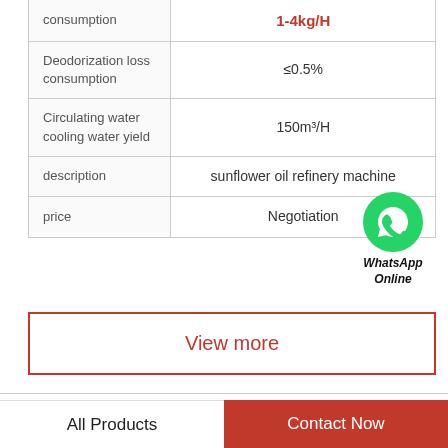| Property | Value |
| --- | --- |
| consumption | 1-4kg/H |
| Deodorization loss consumption | ≤0.5% |
| Circulating water cooling water yield | 150m³/H |
| description | sunflower oil refinery machine |
| price | Negotiation |
View more
Company Profile
All Products
Contact Now